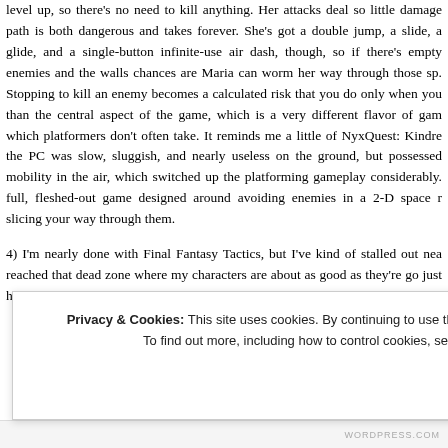level up, so there's no need to kill anything. Her attacks deal so little damage path is both dangerous and takes forever. She's got a double jump, a slide, a glide, and a single-button infinite-use air dash, though, so if there's empty enemies and the walls chances are Maria can worm her way through those sp. Stopping to kill an enemy becomes a calculated risk that you do only when you than the central aspect of the game, which is a very different flavor of gam which platformers don't often take. It reminds me a little of NyxQuest: Kindre the PC was slow, sluggish, and nearly useless on the ground, but possessed mobility in the air, which switched up the platforming gameplay considerably. full, fleshed-out game designed around avoiding enemies in a 2-D space r slicing your way through them.
4) I'm nearly done with Final Fantasy Tactics, but I've kind of stalled out nea reached that dead zone where my characters are about as good as they're go just have to muster up the willpower to force my way through the last seve
Privacy & Cookies: This site uses cookies. By continuing to use this website, you agree to their use. To find out more, including how to control cookies, see here: Cookie Policy